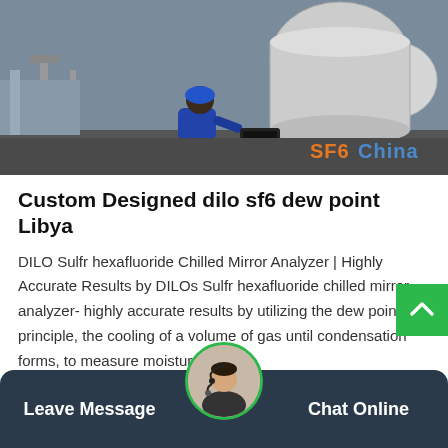[Figure (photo): Worker in blue uniform crouching on a rooftop or industrial area, operating equipment near large tanks/cylinders. Brand watermark 'SF6China' in orange in bottom right.]
Custom Designed dilo sf6 dew point Libya
DILO Sulfr hexafluoride Chilled Mirror Analyzer | Highly Accurate Results by DILOs Sulfr hexafluoride chilled mirror analyzer- highly accurate results by utilizing the dew point principle, the cooling of a volume of gas until condensation forms, to measure moisture…
Get Price
Leave Message
Chat Online